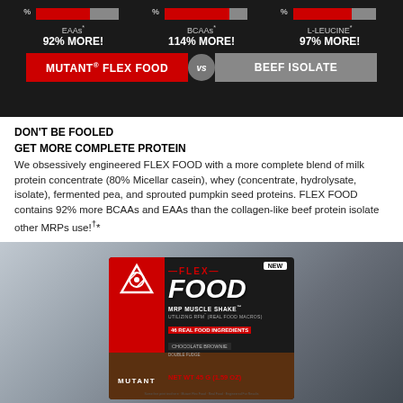[Figure (infographic): Comparison graphic on black background showing bar charts for EAAs (92% MORE!), BCAAs (114% MORE!), L-LEUCINE (97% MORE!), with banner: MUTANT FLEX FOOD vs BEEF ISOLATE]
DON'T BE FOOLED
GET MORE COMPLETE PROTEIN
We obsessively engineered FLEX FOOD with a more complete blend of milk protein concentrate (80% Micellar casein), whey (concentrate, hydrolysate, isolate), fermented pea, and sprouted pumpkin seed proteins. FLEX FOOD contains 92% more BCAAs and EAAs than the collagen-like beef protein isolate other MRPs use!†*
[Figure (photo): Mutant Flex Food MRP Muscle Shake product packet - Chocolate Brownie flavor, NEW badge, 46 Real Food Ingredients, NET WT 45 G (1.59 OZ)]